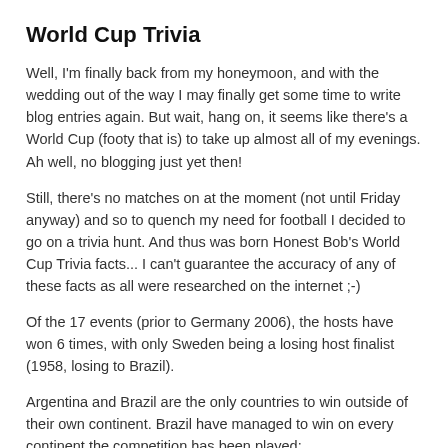World Cup Trivia
Well, I'm finally back from my honeymoon, and with the wedding out of the way I may finally get some time to write blog entries again. But wait, hang on, it seems like there's a World Cup (footy that is) to take up almost all of my evenings. Ah well, no blogging just yet then!
Still, there's no matches on at the moment (not until Friday anyway) and so to quench my need for football I decided to go on a trivia hunt. And thus was born Honest Bob's World Cup Trivia facts... I can't guarantee the accuracy of any of these facts as all were researched on the internet ;-)
Of the 17 events (prior to Germany 2006), the hosts have won 6 times, with only Sweden being a losing host finalist (1958, losing to Brazil).
Argentina and Brazil are the only countries to win outside of their own continent. Brazil have managed to win on every continent the competition has been played: